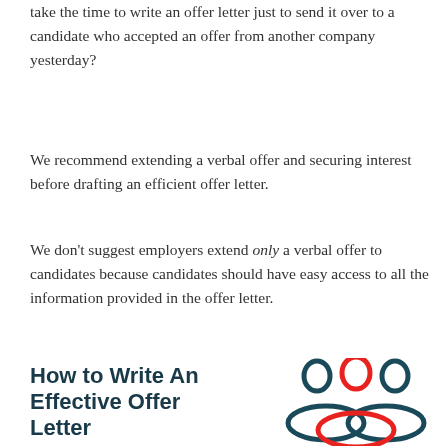take the time to write an offer letter just to send it over to a candidate who accepted an offer from another company yesterday?
We recommend extending a verbal offer and securing interest before drafting an efficient offer letter.
We don't suggest employers extend only a verbal offer to candidates because candidates should have easy access to all the information provided in the offer letter.
[Figure (illustration): Three stylized people icons (two dark teal on the outside, one red in the middle) with two overlapping/linked ellipses beneath them (one dark teal, one red), representing a team or group. This forms a visual header for the 'How to Write An Effective Offer Letter' section.]
How to Write An Effective Offer Letter
Congratulations! your hiring team has reviewed resumes, endured the interview process and has found a candidate to join your team! Now you just have to send